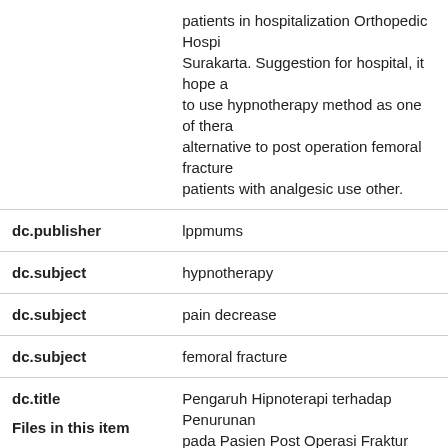| Field | Value |
| --- | --- |
|  | patients in hospitalization Orthopedic Hospi... Surakarta. Suggestion for hospital, it hope a... to use hypnotherapy method as one of thera... alternative to post operation femoral fracture... patients with analgesic use other. |
| dc.publisher | lppmums |
| dc.subject | hypnotherapy |
| dc.subject | pain decrease |
| dc.subject | femoral fracture |
| dc.title | Pengaruh Hipnoterapi terhadap Penurunan... pada Pasien Post Operasi Fraktur Femur di... Ruang Rawat Inap Bedah Rumah Sakit Orto... Surakarta |
| dc.type | Article |
Files in this item